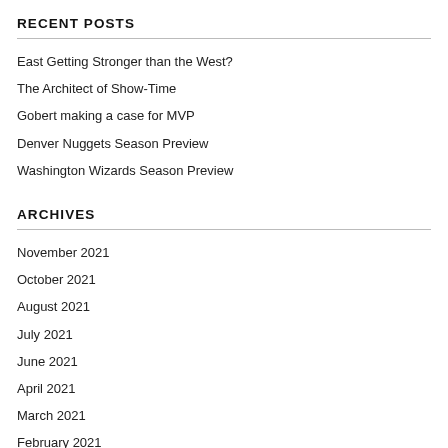RECENT POSTS
East Getting Stronger than the West?
The Architect of Show-Time
Gobert making a case for MVP
Denver Nuggets Season Preview
Washington Wizards Season Preview
ARCHIVES
November 2021
October 2021
August 2021
July 2021
June 2021
April 2021
March 2021
February 2021